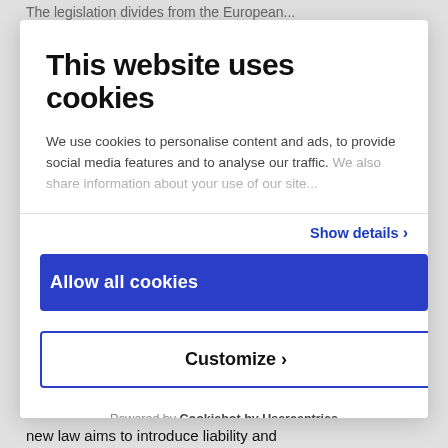The legislation divides from the European...
This website uses cookies
We use cookies to personalise content and ads, to provide social media features and to analyse our traffic. We also share information about your use of our site...
Show details ›
Allow all cookies
Customize ›
Powered by Cookiebot by Usercentrics
new law aims to introduce liability and